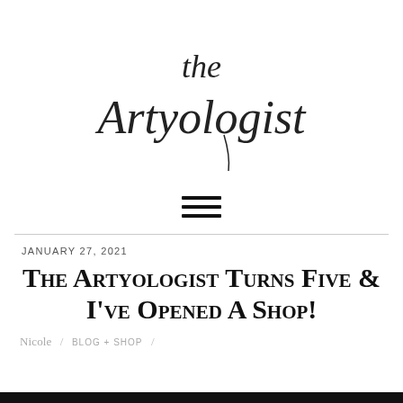[Figure (logo): The Artyologist cursive/script handwritten logo]
[Figure (other): Hamburger menu icon with three horizontal lines]
JANUARY 27, 2021
The Artyologist Turns Five & I've Opened A Shop!
Nicole / BLOG + SHOP /